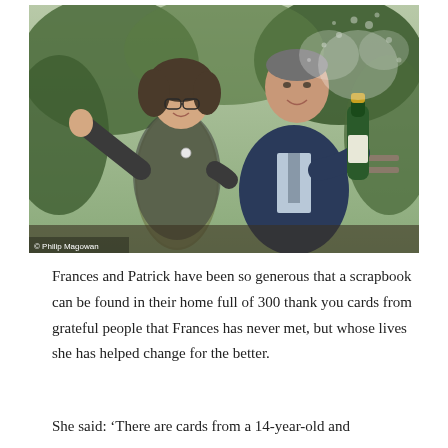[Figure (photo): A woman and a man celebrating outdoors. The woman stands with arms spread wide and is laughing; the man holds a champagne bottle that is spraying champagne. There is green foliage in the background. A photo credit reads '© Philip Magowan' in the lower-left corner.]
Frances and Patrick have been so generous that a scrapbook can be found in their home full of 300 thank you cards from grateful people that Frances has never met, but whose lives she has helped change for the better.
She said: ‘There are cards from a 14-year-old and one from an 85-year-old, both of whom joined to beat…